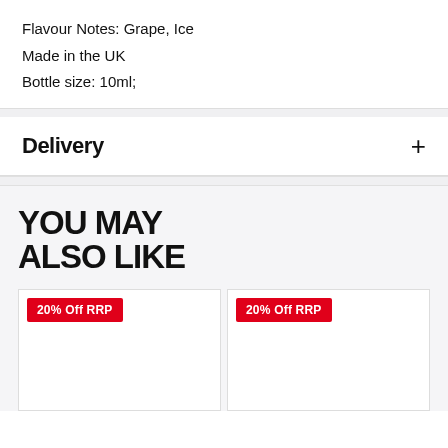Flavour Notes: Grape, Ice
Made in the UK
Bottle size: 10ml;
Delivery
YOU MAY ALSO LIKE
20% Off RRP
20% Off RRP